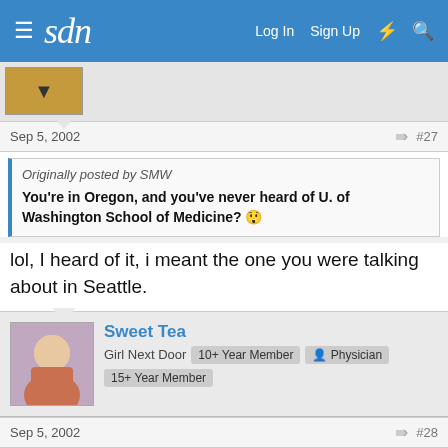sdn  Log In  Sign Up
Sep 5, 2002  #27
Originally posted by SMW
You're in Oregon, and you've never heard of U. of Washington School of Medicine? 😱
lol, I heard of it, i meant the one you were talking about in Seattle.
Sweet Tea
Girl Next Door  10+ Year Member  Physician  15+ Year Member
Sep 5, 2002  #28
Originally posted by woolie
Actually I did grow up in a tiny (pop. 2500) town in Massachusets